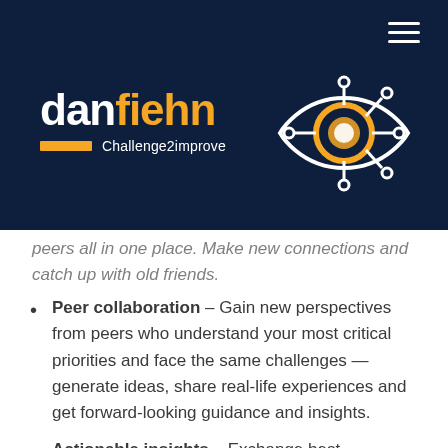[Figure (logo): danfiehn Challenge2improve logo with eye/circuit icon on dark navy background, with hamburger menu icon top right]
peers all in one place. Make new connections and catch up with old friends.
Peer collaboration – Gain new perspectives from peers who understand your most critical priorities and face the same challenges — generate ideas, share real-life experiences and get forward-looking guidance and insights.
Actionable insights – Exchange best